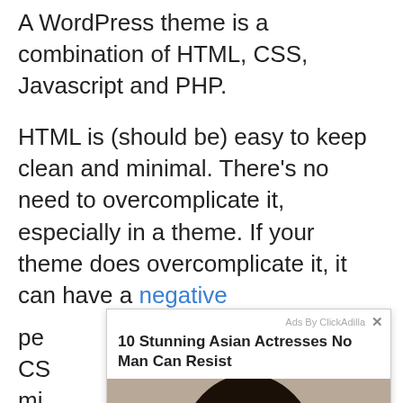A WordPress theme is a combination of HTML, CSS, Javascript and PHP.
HTML is (should be) easy to keep clean and minimal. There's no need to overcomplicate it, especially in a theme. If your theme does overcomplicate it, it can have a negative pe[rformance impact]
[Figure (other): Ad overlay from ClickAdilla: '10 Stunning Asian Actresses No Man Can Resist' with a photo of a woman with dark hair and light eyes against a neutral background.]
CS[S should be kept] mi[nimal...] blo[ck...] cle[an...] feo[...
Ja[vascript...] not[...themes use jQuery],